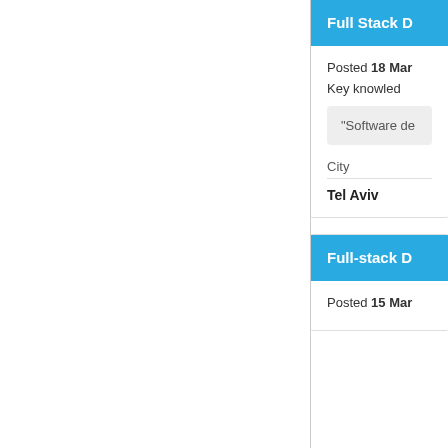Full Stack D
Posted 18 Mar
Key knowledge
"Software de
City
Tel Aviv
Full-stack D
Posted 15 Mar
Key knowledge